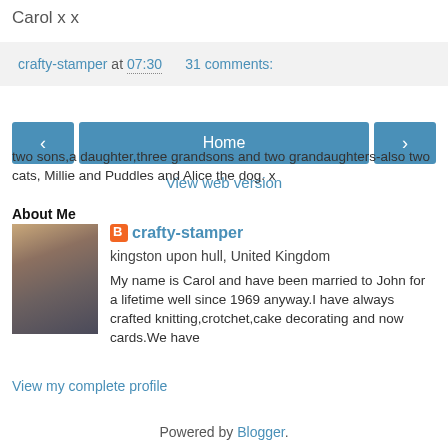Carol x x
crafty-stamper at 07:30    31 comments:
‹
Home
›
View web version
About Me
[Figure (photo): Profile photo of an elderly woman with white hair]
crafty-stamper
kingston upon hull, United Kingdom
My name is Carol and have been married to John for a lifetime well since 1969 anyway.I have always crafted knitting,crotchet,cake decorating and now cards.We have two sons,a daughter,three grandsons and two grandaughters-also two cats, Millie and Puddles and Alice the dog. x
View my complete profile
Powered by Blogger.